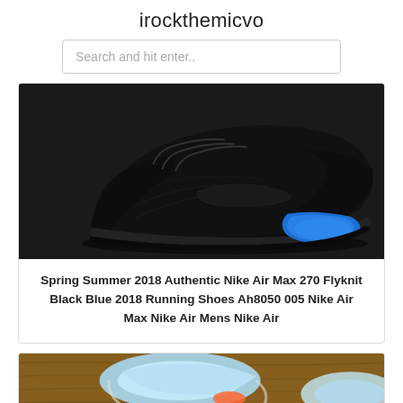irockthemicvo
Search and hit enter..
[Figure (photo): Black Nike Air Max 270 Flyknit shoe with blue air sole unit, photographed on white background from side angle]
Spring Summer 2018 Authentic Nike Air Max 270 Flyknit Black Blue 2018 Running Shoes Ah8050 005 Nike Air Max Nike Air Mens Nike Air
[Figure (photo): Light blue/white Nike Air Max 270 shoe photographed from above on wooden surface, showing the sole and orange accents]